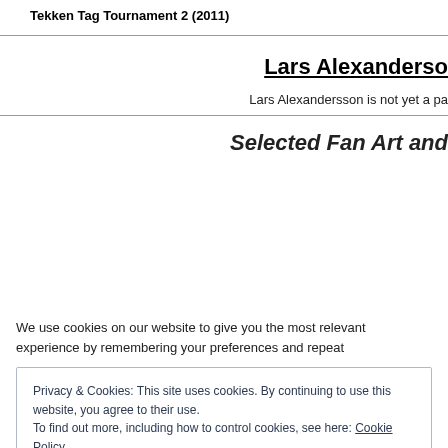Tekken Tag Tournament 2 (2011)
Lars Alexandersson
Lars Alexandersson is not yet a pa
Selected Fan Art and
We use cookies on our website to give you the most relevant experience by remembering your preferences and repeat
Privacy & Cookies: This site uses cookies. By continuing to use this website, you agree to their use.
To find out more, including how to control cookies, see here: Cookie Policy
Close and accept